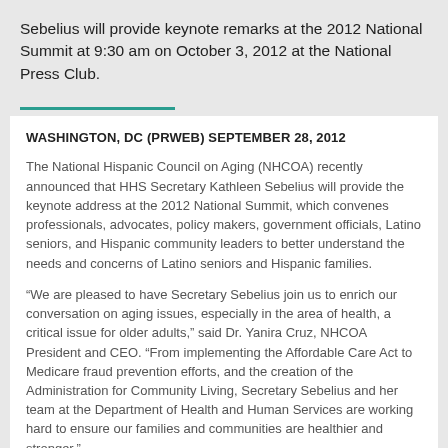Sebelius will provide keynote remarks at the 2012 National Summit at 9:30 am on October 3, 2012 at the National Press Club.
WASHINGTON, DC (PRWEB) SEPTEMBER 28, 2012
The National Hispanic Council on Aging (NHCOA) recently announced that HHS Secretary Kathleen Sebelius will provide the keynote address at the 2012 National Summit, which convenes professionals, advocates, policy makers, government officials, Latino seniors, and Hispanic community leaders to better understand the needs and concerns of Latino seniors and Hispanic families.
“We are pleased to have Secretary Sebelius join us to enrich our conversation on aging issues, especially in the area of health, a critical issue for older adults,” said Dr. Yanira Cruz, NHCOA President and CEO. “From implementing the Affordable Care Act to Medicare fraud prevention efforts, and the creation of the Administration for Community Living, Secretary Sebelius and her team at the Department of Health and Human Services are working hard to ensure our families and communities are healthier and stronger.”